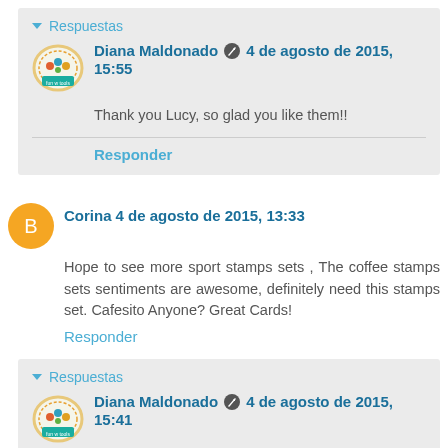▾ Respuestas
Diana Maldonado ✏ 4 de agosto de 2015, 15:55
Thank you Lucy, so glad you like them!!
Responder
Corina 4 de agosto de 2015, 13:33
Hope to see more sport stamps sets , The coffee stamps sets sentiments are awesome, definitely need this stamps set. Cafesito Anyone? Great Cards!
Responder
▾ Respuestas
Diana Maldonado ✏ 4 de agosto de 2015, 15:41
A sport in particular?? Glad you like the stamps